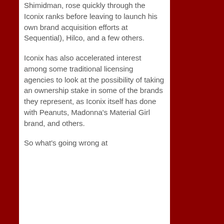Shimidman, rose quickly through the Iconix ranks before leaving to launch his own brand acquisition efforts at Sequential), Hilco, and a few others.
Iconix has also accelerated interest among some traditional licensing agencies to look at the possibility of taking an ownership stake in some of the brands they represent, as Iconix itself has done with Peanuts, Madonna's Material Girl brand, and others.
So what's going wrong at